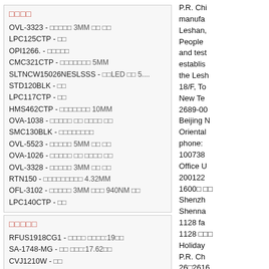□□□□
OVL-3323 - □□□□□ 3MM □□ □□
LPC125CTP - □□
OPI1266. - □□□□□
CMC321CTP - □□□□□□□ 5MM
SLTNCW15026NESLSSS - □□LED □□ 5....
STD120BLK - □□
LPC117CTP - □□
HMS462CTP - □□□□□□□ 10MM
OVA-1038 - □□□□□ □□ □□□□ □□
SMC130BLK - □□□□□□□□
OVL-5523 - □□□□□ 5MM □□ □□
OVA-1026 - □□□□□ □□ □□□□ □□
OVL-3328 - □□□□□ 3MM □□ □□
RTN150 - □□□□□□□□□ 4.32MM
OFL-3102 - □□□□□ 3MM □□□ 940NM □□
LPC140CTP - □□
□□□□□
RFUS1918CG1 - □□□□ □□□□:19□□
SA-1748-MG - □□ □□□:17.62□□
CVJ1210W - □□
CVJ890SW - □□
P.R. China manufactu Leshan, People and test establis the Lesh 18/F, To New Te 2689-00 Beijing N Oriental phone: 100738 Office U 200122 1600□ □□ Shenzh Shenna 1128 fa 1128 □□□ Holiday P.R. Ch 26□2616 11/F, Hu 19F, Tri